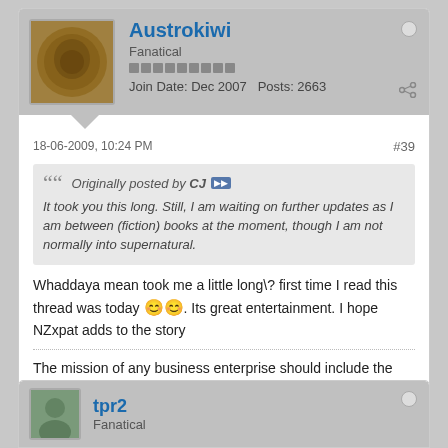Austrokiwi
Fanatical
Join Date: Dec 2007   Posts: 2663
18-06-2009, 10:24 PM
#39
Originally posted by CJ
It took you this long. Still, I am waiting on further updates as I am between (fiction) books at the moment, though I am not normally into supernatural.
Whaddaya mean took me a little long\? first time I read this thread was today 😊😊. Its great entertainment. I hope NZxpat adds to the story
The mission of any business enterprise should include the aim to develop economic conditions rather than simply react to them.
tpr2
Fanatical